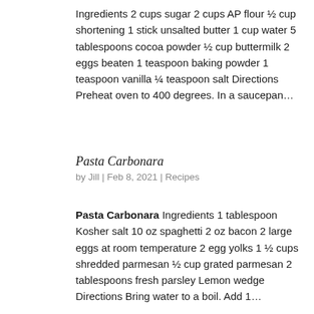Ingredients 2 cups sugar 2 cups AP flour ½ cup shortening 1 stick unsalted butter 1 cup water 5 tablespoons cocoa powder ½ cup buttermilk 2 eggs beaten 1 teaspoon baking powder 1 teaspoon vanilla ¼ teaspoon salt Directions Preheat oven to 400 degrees. In a saucepan…
Pasta Carbonara
by Jill | Feb 8, 2021 | Recipes
Pasta Carbonara   Ingredients 1 tablespoon Kosher salt 10 oz spaghetti 2 oz bacon 2 large eggs at room temperature 2 egg yolks 1 ½ cups shredded parmesan ½ cup grated parmesan 2 tablespoons fresh parsley Lemon wedge Directions Bring water to a boil.  Add 1…
[Figure (photo): Photo of pasta carbonara dish on a white plate with sauce drizzled on top]